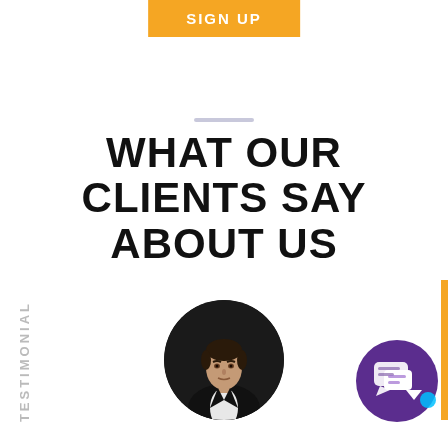[Figure (other): Orange SIGN UP button at top center]
[Figure (other): A short horizontal decorative divider bar in light gray/purple]
WHAT OUR CLIENTS SAY ABOUT US
TESTIMONIAL
[Figure (photo): Circular headshot photo of a man in a dark suit jacket, professional portrait]
[Figure (other): Purple chat/messaging icon button in bottom right corner]